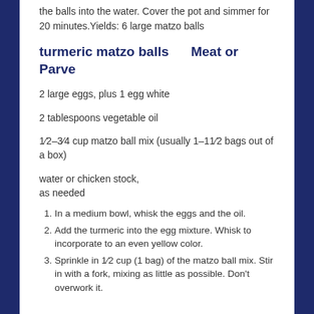the balls into the water. Cover the pot and simmer for 20 minutes.Yields: 6 large matzo balls
turmeric matzo balls    Meat or Parve
2 large eggs, plus 1 egg white
2 tablespoons vegetable oil
1⁄2–3⁄4 cup matzo ball mix (usually 1–11⁄2 bags out of a box)
water or chicken stock, as needed
1. In a medium bowl, whisk the eggs and the oil.
2. Add the turmeric into the egg mixture. Whisk to incorporate to an even yellow color.
3. Sprinkle in 1⁄2 cup (1 bag) of the matzo ball mix. Stir in with a fork, mixing as little as possible. Don't overwork it.